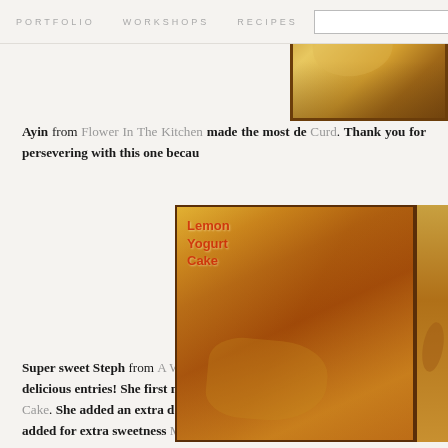PORTFOLIO   WORKSHOPS   RECIPES   SEARCH
[Figure (photo): Food photo showing a golden baked item on a dark-bordered tray, partially cropped at top right]
Ayin from Flower In The Kitchen made the most de Curd. Thank you for persevering with this one becau
[Figure (photo): Photo of a Lemon Yogurt Cake slice with glaze, with handwritten-style label reading 'Lemon Yogurt Cake' in red text, dark border on right side]
Super sweet Steph from A Whisk And A Spoon i delicious entries! She first made one of my childho Cake. She added an extra delicious ingredient with a s added for extra sweetness Meyer Lemon Ice Crea